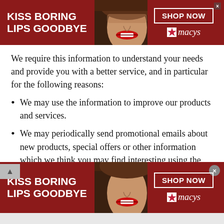[Figure (infographic): Macy's advertisement banner: dark red background, woman with red lips in center, text 'KISS BORING LIPS GOODBYE' on left, 'SHOP NOW' button and Macy's star logo on right, with close X button]
We require this information to understand your needs and provide you with a better service, and in particular for the following reasons:
We may use the information to improve our products and services.
We may periodically send promotional emails about new products, special offers or other information which we think you may find interesting using the email address which you have provided.
[Figure (infographic): Second Macy's advertisement banner (bottom): dark red background, woman with red lips in center, text 'KISS BORING LIPS GOODBYE' on left, 'SHOP NOW' button and Macy's star logo on right, with close X circle button]